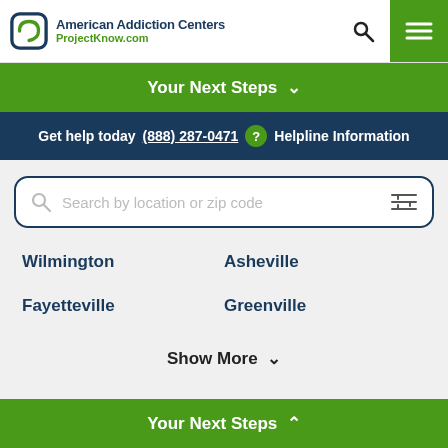American Addiction Centers ProjectKnow.com
Your Next Steps
Get help today (888) 287-0471 ? Helpline Information
Search by location or zip code
Wilmington
Asheville
Fayetteville
Greenville
Show More
Your Next Steps